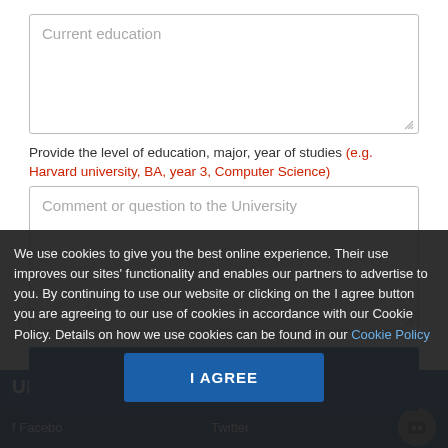[Figure (screenshot): Text area input box with placeholder text 'Current education']
Provide the level of education, major, year of studies (e.g. Harvard university, BA, year 3, Computer Science)
[Figure (screenshot): Text area input box with placeholder text 'Comment or question to the University']
[Figure (screenshot): Blue SUBMIT button]
We use cookies to give you the best online experience. Their use improves our sites' functionality and enables our partners to advertise to you. By continuing to use our website or clicking on the I agree button you are agreeing to our use of cookies in accordance with our Cookie Policy. Details on how we use cookies can be found in our Cookie Policy
[Figure (screenshot): Blue I AGREE button in cookie consent dialog]